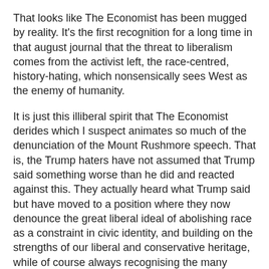That looks like The Economist has been mugged by reality. It's the first recognition for a long time in that august journal that the threat to liberalism comes from the activist left, the race-centred, history-hating, which nonsensically sees West as the enemy of humanity.
It is just this illiberal spirit that The Economist derides which I suspect animates so much of the denunciation of the Mount Rushmore speech. That is, the Trump haters have not assumed that Trump said something worse than he did and reacted against this. They actually heard what Trump said but have moved to a position where they now denounce the great liberal ideal of abolishing race as a constraint in civic identity, and building on the strengths of our liberal and conservative heritage, while of course always recognising the many times Western societies have failed to live up to their ideals.
I recommend people read Trump's speech. Mount Rushmore is the site of carved likenesses of four great presidents: George Washington, Thomas Jefferson, Abraham Lincoln